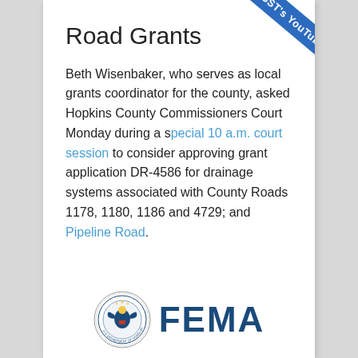Road Grants
Beth Wisenbaker, who serves as local grants coordinator for the county, asked Hopkins County Commissioners Court Monday during a special 10 a.m. court session to consider approving grant application DR-4586 for drainage systems associated with County Roads 1178, 1180, 1186 and 4729; and Pipeline Road.
[Figure (logo): FEMA logo with U.S. Department of Homeland Security seal and FEMA wordmark in dark blue]